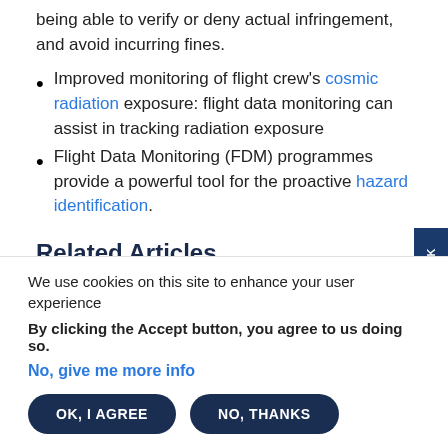being able to verify or deny actual infringement, and avoid incurring fines.
Improved monitoring of flight crew's cosmic radiation exposure: flight data monitoring can assist in tracking radiation exposure
Flight Data Monitoring (FDM) programmes provide a powerful tool for the proactive hazard identification.
Related Articles
We use cookies on this site to enhance your user experience
By clicking the Accept button, you agree to us doing so.
No, give me more info
OK, I AGREE    NO, THANKS